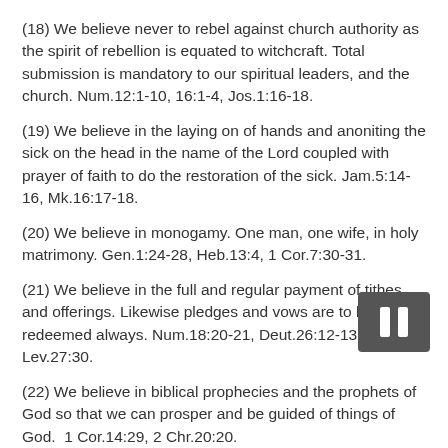(18) We believe never to rebel against church authority as the spirit of rebellion is equated to witchcraft. Total submission is mandatory to our spiritual leaders, and the church. Num.12:1-10, 16:1-4, Jos.1:16-18.
(19) We believe in the laying on of hands and anoniting the sick on the head in the name of the Lord coupled with prayer of faith to do the restoration of the sick. Jam.5:14-16, Mk.16:17-18.
(20) We believe in monogamy. One man, one wife, in holy matrimony. Gen.1:24-28, Heb.13:4, 1 Cor.7:30-31.
(21) We believe in the full and regular payment of tithes and offerings. Likewise pledges and vows are to be redeemed always. Num.18:20-21, Deut.26:12-13, Lev.27:30.
(22) We believe in biblical prophecies and the prophets of God so that we can prosper and be guided of things of God.  1 Cor.14:29, 2 Chr.20:20.
(23) We believe in Godly church disciplines based on the H[obscured]e. Matt.18:15-18,  1 Tim.5:20, Heb.12:5-12.
(24) We believe in no divorce and that God hates divorce. Christians must hate divorce with passion. Gen.1:24-28, Matt.5:31-32.